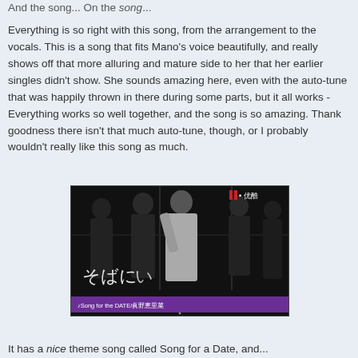And the song... On the song...
Everything is so right with this song, from the arrangement to the vocals. This is a song that fits Mano's voice beautifully, and really shows off that more alluring and mature side to her that her earlier singles didn't show. She sounds amazing here, even with the auto-tune that was happily thrown in there during some parts, but it all works - Everything works so well together, and the song is so amazing. Thank goodness there isn't that much auto-tune, though, or I probably wouldn't really like this song as much.
[Figure (photo): Black and white video screenshot of people on what appears to be a train or subway. A person in a white top is in the center. Japanese text (そばに) is overlaid at the bottom left. A purple subtitle bar reads '♪Song for the DATE/眞野恵里菜'. A red and white watermark in the top right corner shows '优酷'.]
It has a nice theme song called Song for a Date, and...